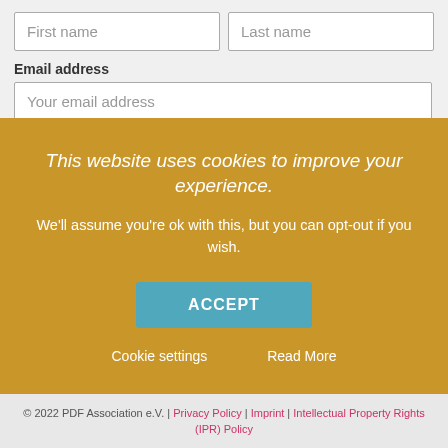First name
Last name
Email address
Your email address
I have read and agree to the Privacy Policy
This website uses cookies to improve your experience.
We'll assume you're ok with this, but you can opt-out if you wish.
ACCEPT
Cookie settings
Read More
© 2022 PDF Association e.V. | Privacy Policy | Imprint | Intellectual Property Rights (IPR) Policy